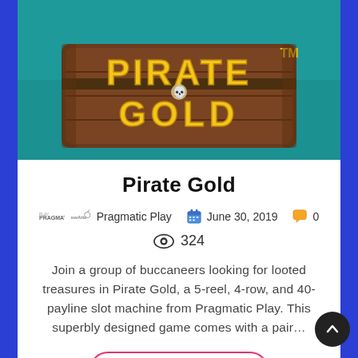[Figure (illustration): Pirate Gold slot game banner image showing a treasure chest on a teal ocean background with the text PIRATE GOLD in large golden letters on a wooden sign, with a skull emblem and TM trademark symbol.]
Pirate Gold
Pragmatic Play   June 30, 2019   0   324
Join a group of buccaneers looking for looted treasures in Pirate Gold, a 5-reel, 4-row, and 40-payline slot machine from Pragmatic Play. This superbly designed game comes with a pair...
Continue reading